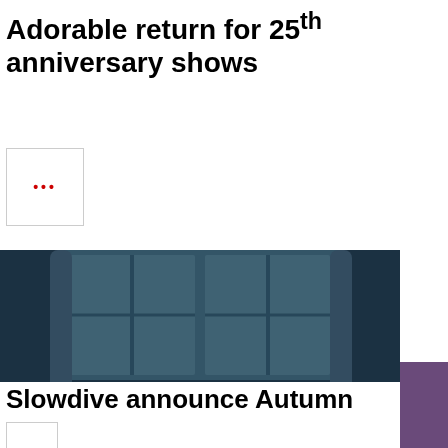Adorable return for 25th anniversary shows
[Figure (illustration): Small icon/thumbnail box with red ellipsis dots]
[Figure (photo): Band photo: five members seated in a dimly lit room with large windows, wearing dark clothing, shot with a blue-teal tint]
Slowdive announce Autumn tour
[Figure (illustration): Small white thumbnail box at bottom left]